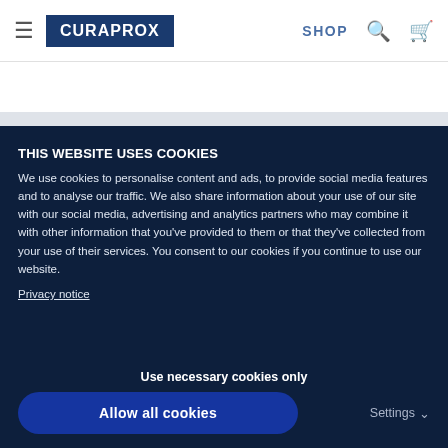[Figure (screenshot): Curaprox website navigation bar with hamburger menu, blue CURAPROX logo, SHOP link, search icon, and cart icon]
BABY
THIS WEBSITE USES COOKIES
We use cookies to personalise content and ads, to provide social media features and to analyse our traffic. We also share information about your use of our site with our social media, advertising and analytics partners who may combine it with other information that you've provided to them or that they've collected from your use of their services. You consent to our cookies if you continue to use our website.
Privacy notice
Use necessary cookies only
Allow all cookies
Settings